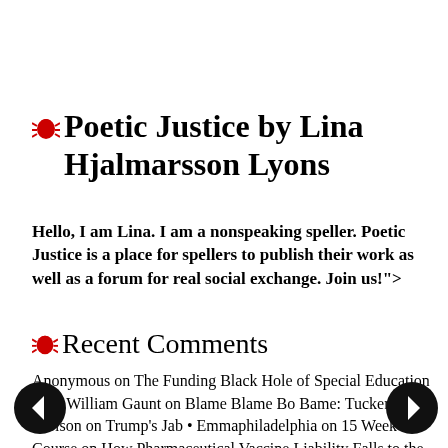Poetic Justice by Lina Hjalmarsson Lyons
Hello, I am Lina. I am a nonspeaking speller. Poetic Justice is a place for spellers to publish their work as well as a forum for real social exchange. Join us!">
Recent Comments
Anonymous on The Funding Black Hole of Special Education • Dr William Gaunt on Blame Blame Bo Bame: Tucker Carlson on Trump's Jab • Emmaphiladelphia on 15 Week Course on How Pharmaceutical Vaccine Liability Falls to the Consumer Courtesy of Uncle Sam • Emmaphiladelphia on 15 Week Emmaphilad...